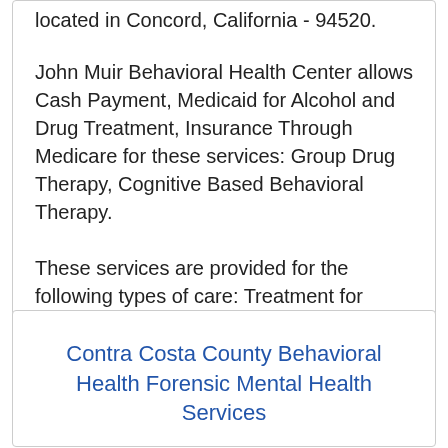located in Concord, California - 94520.
John Muir Behavioral Health Center allows Cash Payment, Medicaid for Alcohol and Drug Treatment, Insurance Through Medicare for these services: Group Drug Therapy, Cognitive Based Behavioral Therapy.
These services are provided for the following types of care: Treatment for Mental Illnesses.
Contra Costa County Behavioral Health Forensic Mental Health Services